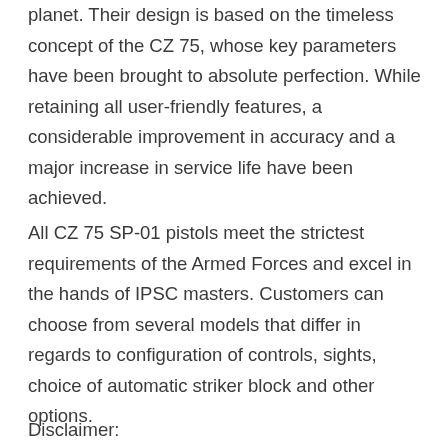planet. Their design is based on the timeless concept of the CZ 75, whose key parameters have been brought to absolute perfection. While retaining all user-friendly features, a considerable improvement in accuracy and a major increase in service life have been achieved.
All CZ 75 SP-01 pistols meet the strictest requirements of the Armed Forces and excel in the hands of IPSC masters. Customers can choose from several models that differ in regards to configuration of controls, sights, choice of automatic striker block and other options.
Disclaimer: